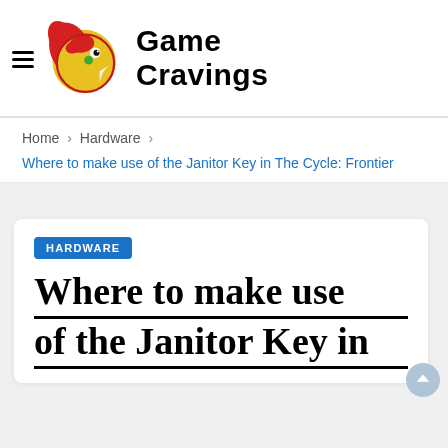Game Cravings
Home > Hardware >
Where to make use of the Janitor Key in The Cycle: Frontier
HARDWARE
Where to make use of the Janitor Key in